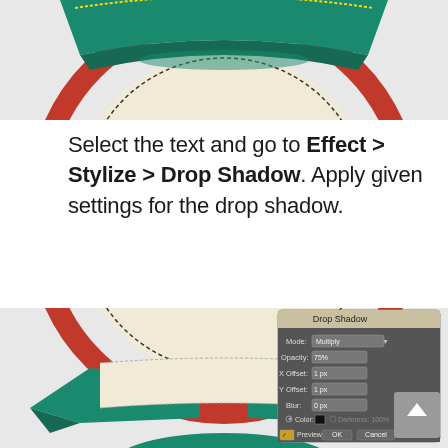[Figure (illustration): Top portion of a decorative badge/emblem with green banner on top, red circular border, and cream/beige oval center with dashed border detail. Light gray background.]
Select the text and go to Effect > Stylize > Drop Shadow. Apply given settings for the drop shadow.
[Figure (screenshot): Bottom portion of the same decorative badge/emblem visible behind a Drop Shadow dialog box from Adobe Illustrator. Dialog shows: Mode: Multiply, Opacity: 75%, X Offset: 1 px, Y Offset: 1 px, Blur: 0 px, Color (black swatch), Darkness: 100%, Preview checkbox checked, OK and Cancel buttons. A gray scroll-to-top button is visible in the bottom-right corner.]